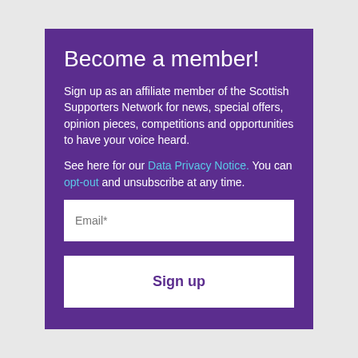Become a member!
Sign up as an affiliate member of the Scottish Supporters Network for news, special offers, opinion pieces, competitions and opportunities to have your voice heard.
See here for our Data Privacy Notice. You can opt-out and unsubscribe at any time.
Email*
Sign up